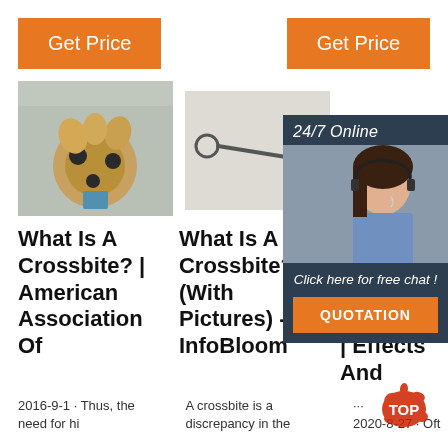[Figure (other): Two orange 'Get Price' buttons at top left and top right]
[Figure (photo): A drill bit head, metallic golden/bronze color on blue base]
[Figure (photo): A thin metal rod with a small ring at one end, on white/grey background]
[Figure (photo): 24/7 Online chat panel with a female agent wearing headset, 'Click here for free chat!' and QUOTATION button]
What Is A Crossbite? | American Association Of
What Is A Crossbite? (With Pictures) - InfoBloom
An... Cro... Posterior Crossbite | Effects And
2016-9-1 · Thus, the need for hi
A crossbite is a discrepancy in the
··· 2020-8-27 · Oft